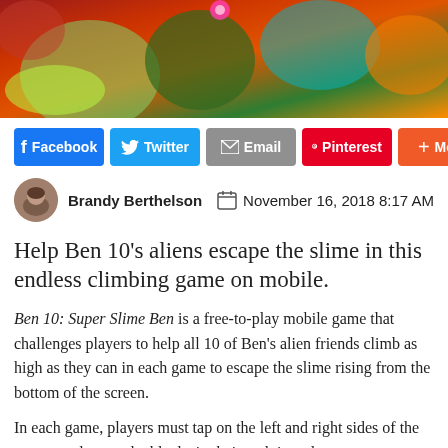[Figure (photo): Hero image of Ben 10 alien characters in a colorful action scene]
Facebook  Twitter  Email  Pinterest  More
Brandy Berthelson   November 16, 2018 8:17 AM
Help Ben 10's aliens escape the slime in this endless climbing game on mobile.
Ben 10: Super Slime Ben is a free-to-play mobile game that challenges players to help all 10 of Ben's alien friends climb as high as they can in each game to escape the slime rising from the bottom of the screen.
In each game, players must tap on the left and right sides of the screen to destroy the blocks in their path in order to create a stairway for them to climb higher